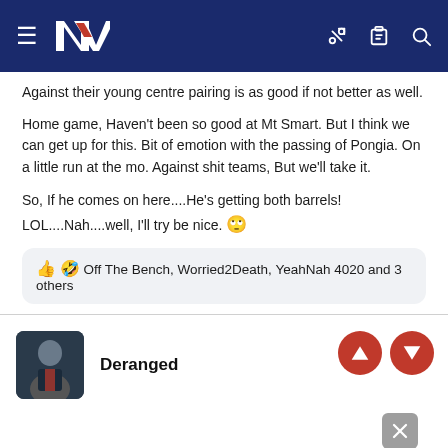NZ Warriors forum navigation bar
Against their young centre pairing is as good if not better as well.
Home game, Haven't been so good at Mt Smart. But I think we can get up for this. Bit of emotion with the passing of Pongia. On a little run at the mo. Against shit teams, But we'll take it.
So, If he comes on here....He's getting both barrels!
LOL....Nah....well, I'll try be nice. 🙄
👍 🤣 Off The Bench, Worried2Death, YeahNah 4020 and 3 others
Deranged